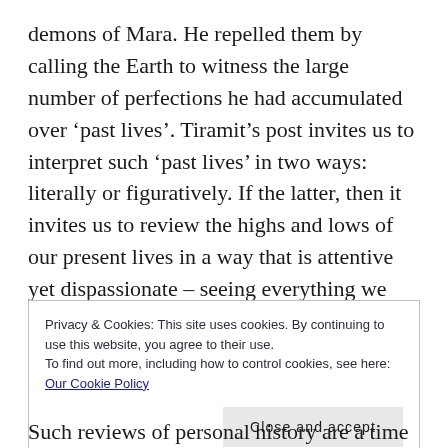demons of Mara. He repelled them by calling the Earth to witness the large number of perfections he had accumulated over ‘past lives’. Tiramit’s post invites us to interpret such ‘past lives’ in two ways: literally or figuratively. If the latter, then it invites us to review the highs and lows of our present lives in a way that is attentive yet dispassionate – seeing everything we have done, accurately and honestly, yet not allowing either negative or positive feelings (dislikes or likes) about each experience to arise. We make it simply
Privacy & Cookies: This site uses cookies. By continuing to use this website, you agree to their use.
To find out more, including how to control cookies, see here: Our Cookie Policy
Close and accept
Such reviews of personal history are a time